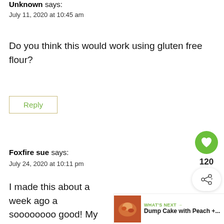Unknown says:
July 11, 2020 at 10:45 am
Do you think this would work using gluten free flour?
Reply
Foxfire sue says:
July 24, 2020 at 10:11 pm
I made this about a week ago a soooooooo good! My husband ate it